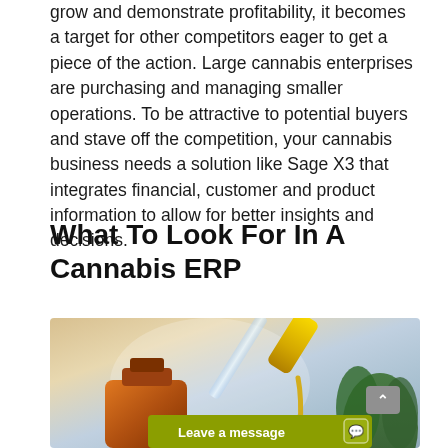grow and demonstrate profitability, it becomes a target for other competitors eager to get a piece of the action. Large cannabis enterprises are purchasing and managing smaller operations. To be attractive to potential buyers and stave off the competition, your cannabis business needs a solution like Sage X3 that integrates financial, customer and product information to allow for better insights and decisions.
What To Look For In A Cannabis ERP
[Figure (photo): Close-up photo of a cannabis tincture dropper dispensing golden oil into an amber glass bottle, with a cannabis plant visible in the background]